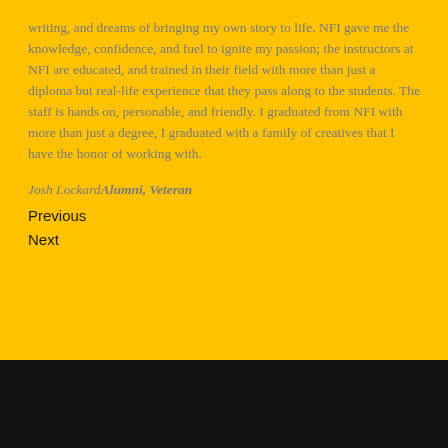writing, and dreams of bringing my own story to life. NFI gave me the knowledge, confidence, and fuel to ignite my passion; the instructors at NFI are educated, and trained in their field with more than just a diploma but real-life experience that they pass along to the students. The staff is hands on, personable, and friendly. I graduated from NFI with more than just a degree, I graduated with a family of creatives that I have the honor of working with.
Josh Lockard — Alumni, Veteran
Previous
Next